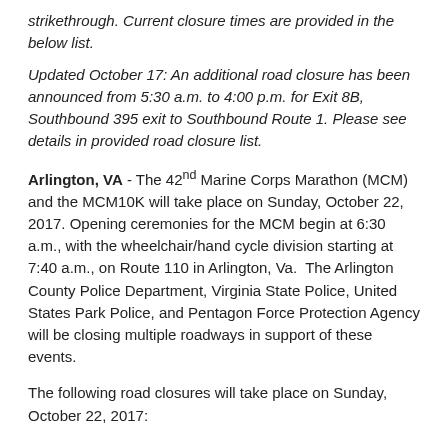strikethrough. Current closure times are provided in the below list.
Updated October 17: An additional road closure has been announced from 5:30 a.m. to 4:00 p.m. for Exit 8B, Southbound 395 exit to Southbound Route 1. Please see details in provided road closure list.
Arlington, VA - The 42nd Marine Corps Marathon (MCM) and the MCM10K will take place on Sunday, October 22, 2017. Opening ceremonies for the MCM begin at 6:30 a.m., with the wheelchair/hand cycle division starting at 7:40 a.m., on Route 110 in Arlington, Va. The Arlington County Police Department, Virginia State Police, United States Park Police, and Pentagon Force Protection Agency will be closing multiple roadways in support of these events.
The following road closures will take place on Sunday, October 22, 2017: